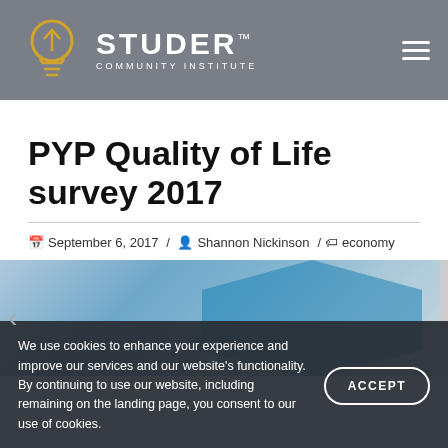[Figure (logo): Studer Community Institute logo — lightbulb with upward arrow in gold/yellow, text STUDER COMMUNITY INSTITUTE in white on gray background]
PYP Quality of Life survey 2017
September 6, 2017 / Shannon Nickinson / economy
[Figure (photo): Partial photo with blue sky and hexagonal shape overlay, navigation arrow on left, scrollbar on right]
We use cookies to enhance your experience and improve our services and our website's functionality. By continuing to use our website, including remaining on the landing page, you consent to our use of cookies.